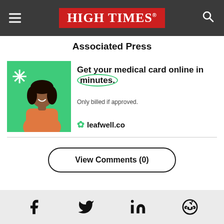HIGH TIMES
Associated Press
[Figure (infographic): Advertisement for leafwell.co showing a smiling woman on a green background with a cannabis leaf asterisk symbol. Text reads: Get your medical card online in minutes. Only billed if approved. leafwell.co]
View Comments (0)
Social share icons: Facebook, Twitter, LinkedIn, Reddit